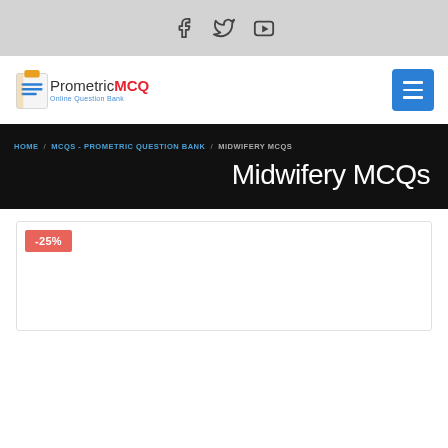Social media icons: Facebook, Twitter, YouTube
[Figure (logo): PrometricMCQ Online Question Bank logo with clipboard icon]
[Figure (other): Blue hamburger menu button]
HOME / MCQS - PROMETRIC QUESTION BANK / MIDWIFERY MCQS
Midwifery MCQs
-25%